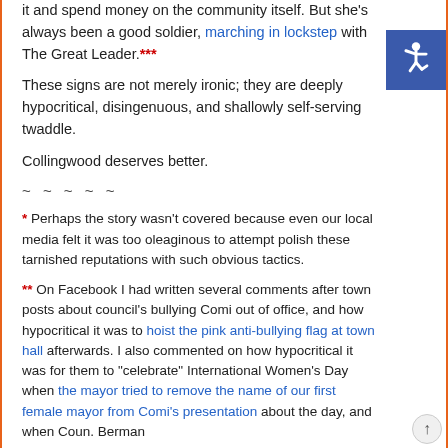it and spend money on the community itself. But she's always been a good soldier, marching in lockstep with The Great Leader.***
These signs are not merely ironic; they are deeply hypocritical, disingenuous, and shallowly self-serving twaddle.
Collingwood deserves better.
~ ~ ~ ~ ~
* Perhaps the story wasn't covered because even our local media felt it was too oleaginous to attempt polish these tarnished reputations with such obvious tactics.
** On Facebook I had written several comments after town posts about council's bullying Comi out of office, and how hypocritical it was to hoist the pink anti-bullying flag at town hall afterwards. I also commented on how hypocritical it was for them to "celebrate" International Women's Day when the mayor tried to remove the name of our first female mayor from Comi's presentation about the day, and when Coun. Berman
[Figure (other): Blue square accessibility icon with white wheelchair symbol]